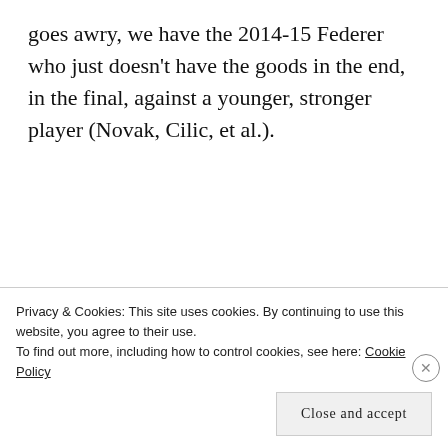goes awry, we have the 2014-15 Federer who just doesn't have the goods in the end, in the final, against a younger, stronger player (Novak, Cilic, et al.).
Advertisements
[Figure (illustration): Advertisement banner with beige background showing text 'Professionally designed sites in less than a week' and decorative card mockups in the corner.]
Privacy & Cookies: This site uses cookies. By continuing to use this website, you agree to their use.
To find out more, including how to control cookies, see here: Cookie Policy
Close and accept